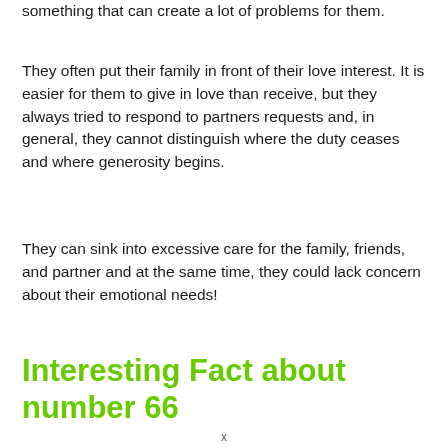something that can create a lot of problems for them.
They often put their family in front of their love interest. It is easier for them to give in love than receive, but they always tried to respond to partners requests and, in general, they cannot distinguish where the duty ceases and where generosity begins.
They can sink into excessive care for the family, friends, and partner and at the same time, they could lack concern about their emotional needs!
Interesting Fact about number 66
x